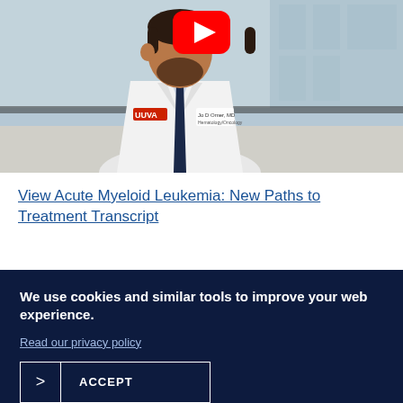[Figure (photo): A doctor in a white UVA lab coat with a dark navy tie standing in what appears to be a hospital atrium. A YouTube play button is overlaid at the top center of the image.]
View Acute Myeloid Leukemia: New Paths to Treatment Transcript
We use cookies and similar tools to improve your web experience.
Read our privacy policy
ACCEPT